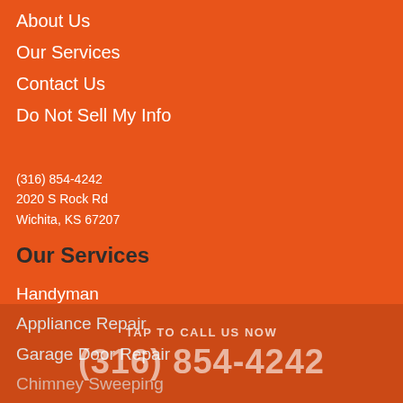About Us
Our Services
Contact Us
Do Not Sell My Info
(316) 854-4242
2020 S Rock Rd
Wichita, KS 67207
Our Services
Handyman
Appliance Repair
Garage Door Repair
Chimney Sweeping
Caulking
Gutter Cleaning
Air Duct Cleaning
TAP TO CALL US NOW
(316) 854-4242